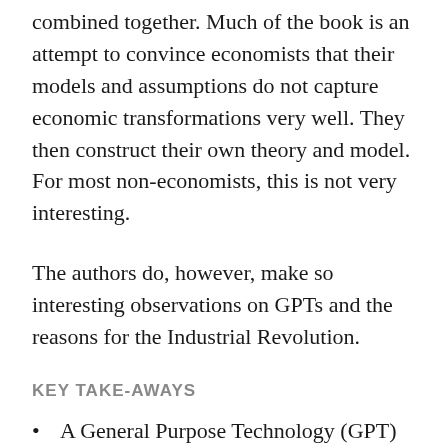combined together. Much of the book is an attempt to convince economists that their models and assumptions do not capture economic transformations very well. They then construct their own theory and model. For most non-economists, this is not very interesting.
The authors do, however, make so interesting observations on GPTs and the reasons for the Industrial Revolution.
KEY TAKE-AWAYS
A General Purpose Technology (GPT) is a